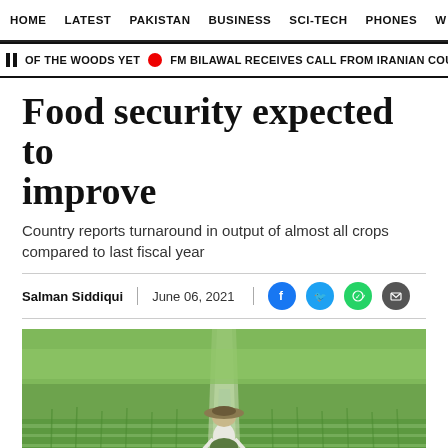HOME  LATEST  PAKISTAN  BUSINESS  SCI-TECH  PHONES  W
OF THE WOODS YET  ●  FM BILAWAL RECEIVES CALL FROM IRANIAN COUNTERPAR
Food security expected to improve
Country reports turnaround in output of almost all crops compared to last fiscal year
Salman Siddiqui  |  June 06, 2021
[Figure (photo): A farmer walking through a lush green rice paddy field with water reflecting between the rows]